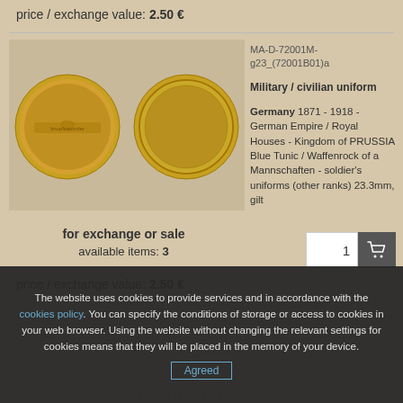price / exchange value: 2.50 €
[Figure (photo): Two gold-colored military buttons photographed front and back on a beige background. The back of one button shows a shank and a small label reading 'knopfsammler'.]
MA-D-72001M-g23_(72001B01)a
Military / civilian uniform
Germany 1871 - 1918 - German Empire / Royal Houses - Kingdom of PRUSSIA Blue Tunic / Waffenrock of a Mannschaften - soldier's uniforms (other ranks) 23.3mm, gilt
for exchange or sale
available items: 3
price / exchange value: 2.50 €
The website uses cookies to provide services and in accordance with the cookies policy. You can specify the conditions of storage or access to cookies in your web browser. Using the website without changing the relevant settings for cookies means that they will be placed in the memory of your device.
Agreed